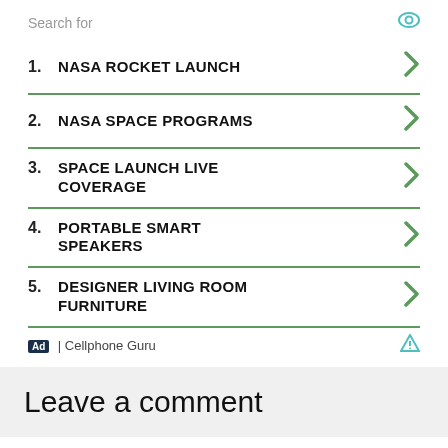Search for
1. NASA ROCKET LAUNCH
2. NASA SPACE PROGRAMS
3. SPACE LAUNCH LIVE COVERAGE
4. PORTABLE SMART SPEAKERS
5. DESIGNER LIVING ROOM FURNITURE
Ad | Cellphone Guru
Leave a comment
Search for
1. NASA ROCKET LAUNCH
2. NASA SPACE PROGRAMS
Ad | Cellphone Guru